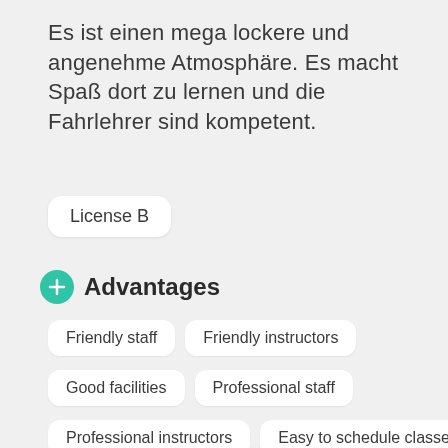Es ist einen mega lockere und angenehme Atmosphäre. Es macht Spaß dort zu lernen und die Fahrlehrer sind kompetent.
License B
Advantages
Friendly staff
Friendly instructors
Good facilities
Professional staff
Professional instructors
Easy to schedule classes
Good theory classes
No hidden costs
Good overall atmosphere
Good preparation for theory exam